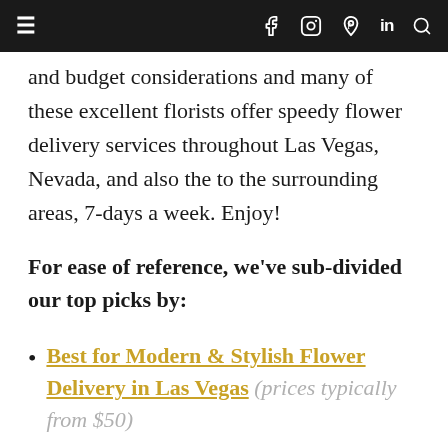≡  f  ⊙  ℗  in  🔍
and budget considerations and many of these excellent florists offer speedy flower delivery services throughout Las Vegas, Nevada, and also the to the surrounding areas, 7-days a week. Enjoy!
For ease of reference, we've sub-divided our top picks by:
Best for Modern & Stylish Flower Delivery in Las Vegas (prices typically from $50)